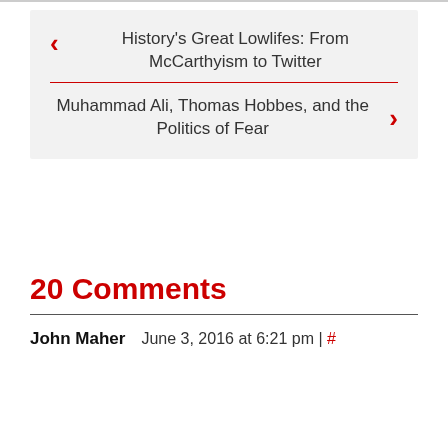History's Great Lowlifes: From McCarthyism to Twitter
Muhammad Ali, Thomas Hobbes, and the Politics of Fear
20 Comments
John Maher   June 3, 2016 at 6:21 pm | #